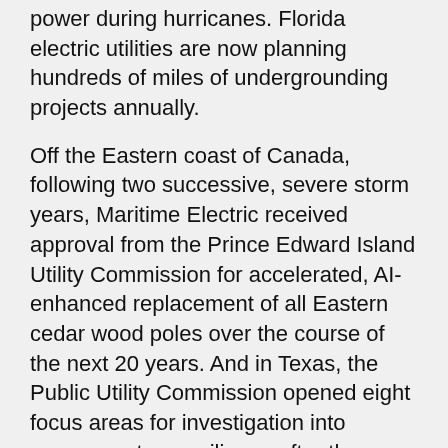three years of millions of people and businesses losing power during hurricanes. Florida electric utilities are now planning hundreds of miles of undergrounding projects annually.
Off the Eastern coast of Canada, following two successive, severe storm years, Maritime Electric received approval from the Prince Edward Island Utility Commission for accelerated, AI-enhanced replacement of all Eastern cedar wood poles over the course of the next 20 years. And in Texas, the Public Utility Commission opened eight focus areas for investigation into energy system resilience after the February freeze that shook the nation.
While these measures often have desirable outcomes, they tend to be targeted and reactive, stopping short of understanding the true value of each mitigation for future events.
So what can we start to do?